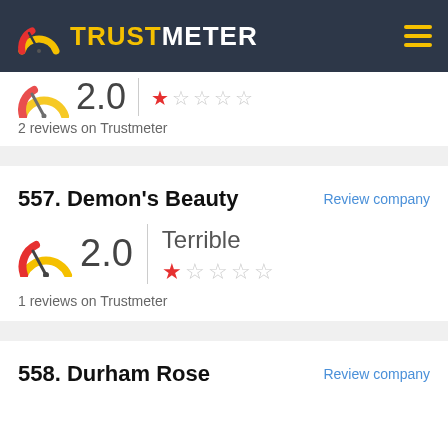[Figure (logo): TrustMeter logo with speedometer icon on dark background header bar]
2 reviews on Trustmeter
557. Demon's Beauty
Review company
[Figure (infographic): Speedometer gauge showing 2.0 rating with Terrible label and 1 star out of 5]
1 reviews on Trustmeter
558. Durham Rose
Review company